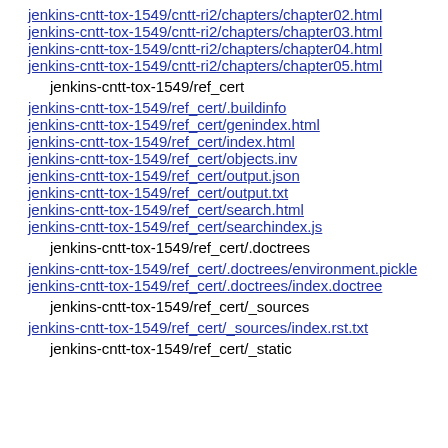jenkins-cntt-tox-1549/cntt-ri2/chapters/chapter02.html
jenkins-cntt-tox-1549/cntt-ri2/chapters/chapter03.html
jenkins-cntt-tox-1549/cntt-ri2/chapters/chapter04.html
jenkins-cntt-tox-1549/cntt-ri2/chapters/chapter05.html
jenkins-cntt-tox-1549/ref_cert
jenkins-cntt-tox-1549/ref_cert/.buildinfo
jenkins-cntt-tox-1549/ref_cert/genindex.html
jenkins-cntt-tox-1549/ref_cert/index.html
jenkins-cntt-tox-1549/ref_cert/objects.inv
jenkins-cntt-tox-1549/ref_cert/output.json
jenkins-cntt-tox-1549/ref_cert/output.txt
jenkins-cntt-tox-1549/ref_cert/search.html
jenkins-cntt-tox-1549/ref_cert/searchindex.js
jenkins-cntt-tox-1549/ref_cert/.doctrees
jenkins-cntt-tox-1549/ref_cert/.doctrees/environment.pickle
jenkins-cntt-tox-1549/ref_cert/.doctrees/index.doctree
jenkins-cntt-tox-1549/ref_cert/_sources
jenkins-cntt-tox-1549/ref_cert/_sources/index.rst.txt
jenkins-cntt-tox-1549/ref_cert/_static